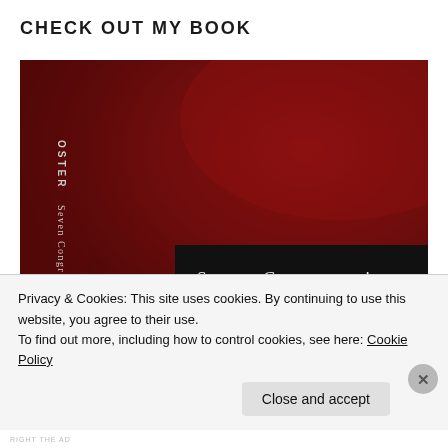CHECK OUT MY BOOK
[Figure (illustration): Book cover of 'Seven Congregations IN A ROMAN CRUCIBLE' by Oster. Dark red textured background with black rectangle at lower right containing the title text in white. Left spine area shows rotated text 'OSTER' and 'Seven Congregations'.]
Privacy & Cookies: This site uses cookies. By continuing to use this website, you agree to their use.
To find out more, including how to control cookies, see here: Cookie Policy
Close and accept